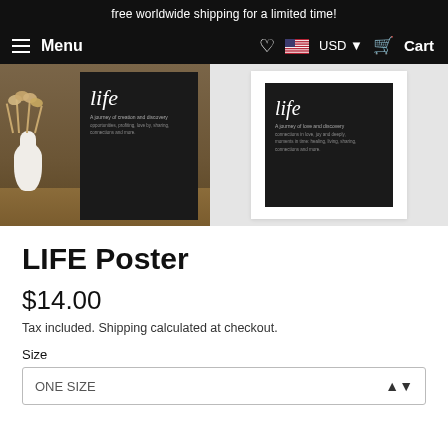free worldwide shipping for a limited time!
Menu  USD  Cart
[Figure (photo): Two LIFE definition posters shown: left image shows a dark poster next to a white vase with dried pampas grass on a wooden surface; right image shows the same dark LIFE poster in a white frame on a light grey background.]
LIFE Poster
$14.00
Tax included. Shipping calculated at checkout.
Size
ONE SIZE